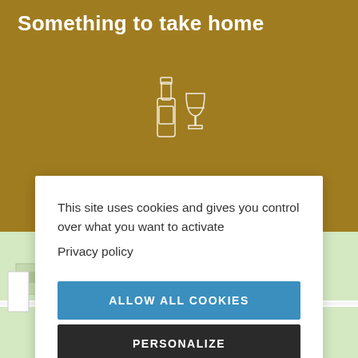Something to take home
[Figure (illustration): Wine bottle and wine glass icon, white outline on gold background]
This site uses cookies and gives you control over what you want to activate
Privacy policy
ALLOW ALL COOKIES
PERSONALIZE
DENY ALL COOKIES
[Figure (map): Map background showing streets and buildings, with Arvieu label visible at bottom]